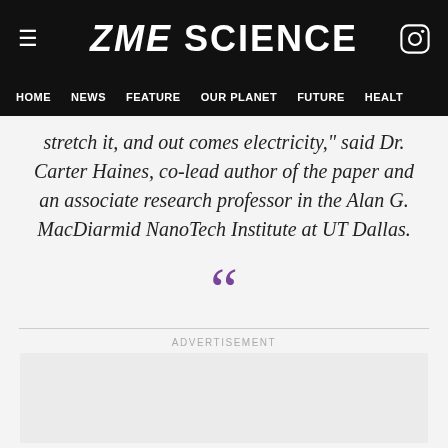ZME SCIENCE
HOME   NEWS   FEATURE   OUR PLANET   FUTURE   HEALT
stretch it, and out comes electricity," said Dr. Carter Haines, co-lead author of the paper and an associate research professor in the Alan G. MacDiarmid NanoTech Institute at UT Dallas.
[Figure (other): Large purple opening double-quotation mark decorative element]
ADVERTISEMENT